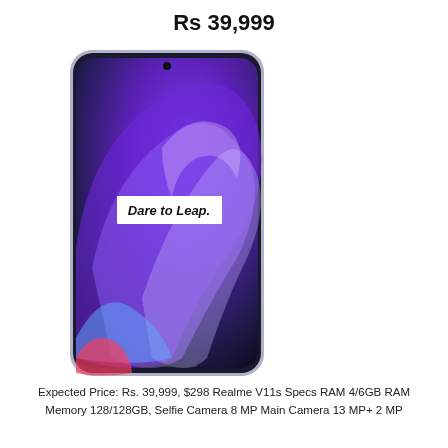Rs 39,999
[Figure (photo): Realme V11s smartphone with purple gradient wallpaper showing 'Dare to Leap.' text on screen, front view with thin bezels]
Expected Price: Rs. 39,999, $298 Realme V11s Specs RAM 4/6GB RAM Memory 128/128GB, Selfie Camera 8 MP Main Camera 13 MP+ 2 MP